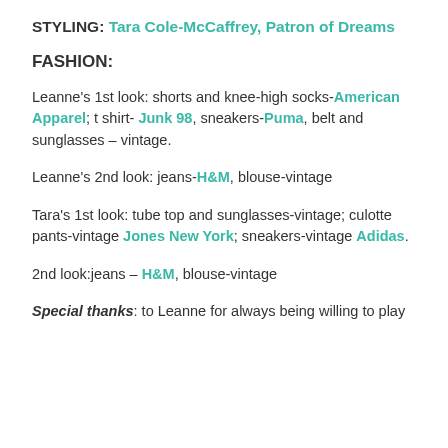STYLING: Tara Cole-McCaffrey, Patron of Dreams
FASHION:
Leanne's 1st look: shorts and knee-high socks-American Apparel; t shirt- Junk 98, sneakers-Puma, belt and sunglasses – vintage.
Leanne's 2nd look: jeans-H&M, blouse-vintage
Tara's 1st look: tube top and sunglasses-vintage; culotte pants-vintage Jones New York; sneakers-vintage Adidas.
2nd look:jeans – H&M, blouse-vintage
Special thanks: to Leanne for always being willing to play